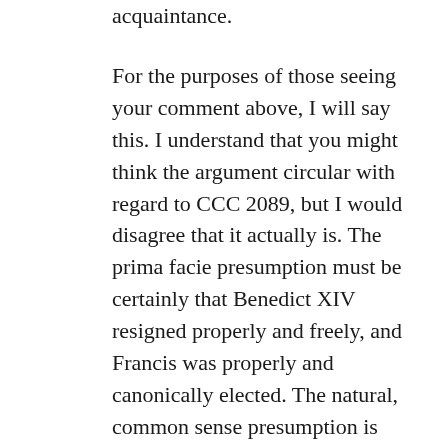acquaintance.
For the purposes of those seeing your comment above, I will say this. I understand that you might think the argument circular with regard to CCC 2089, but I would disagree that it actually is. The prima facie presumption must be certainly that Benedict XIV resigned properly and freely, and Francis was properly and canonically elected. The natural, common sense presumption is Francis is the true pope. One might disagree that he is, but the burden is on that one to provide the proof to overcome the prima facie presumption and the consequent implication of CCC 2089. My post adopted, arguendo, a lower standard – i.e., that the Church could